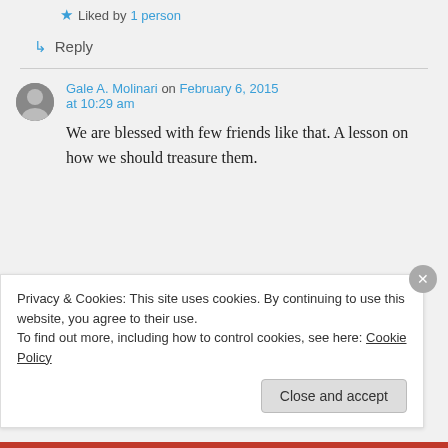★ Liked by 1 person
↳ Reply
Gale A. Molinari on February 6, 2015 at 10:29 am
We are blessed with few friends like that. A lesson on how we should treasure them.
Privacy & Cookies: This site uses cookies. By continuing to use this website, you agree to their use.
To find out more, including how to control cookies, see here: Cookie Policy